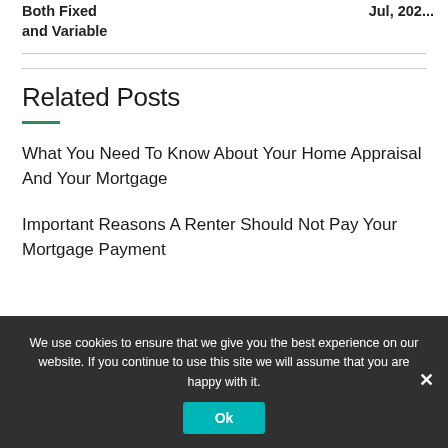|  |  |
| --- | --- |
| Both Fixed and Variable | Jul, 202... |
Related Posts
What You Need To Know About Your Home Appraisal And Your Mortgage
Important Reasons A Renter Should Not Pay Your Mortgage Payment
We use cookies to ensure that we give you the best experience on our website. If you continue to use this site we will assume that you are happy with it.